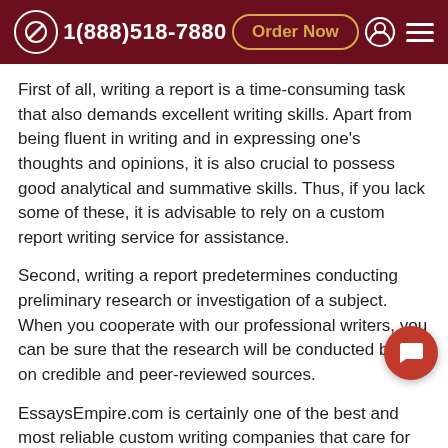1(888)518-7880  Order Now
First of all, writing a report is a time-consuming task that also demands excellent writing skills. Apart from being fluent in writing and in expressing one's thoughts and opinions, it is also crucial to possess good analytical and summative skills. Thus, if you lack some of these, it is advisable to rely on a custom report writing service for assistance.
Second, writing a report predetermines conducting preliminary research or investigation of a subject. When you cooperate with our professional writers, you can be sure that the research will be conducted based on credible and peer-reviewed sources.
EssaysEmpire.com is certainly one of the best and most reliable custom writing companies that care for its reputation and customer satisfaction. We never undermine quality of writing and we can deliver top-quality papers no matter how tight the